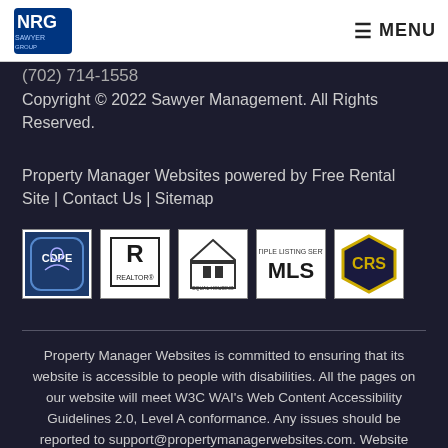NRG | ☰ MENU
(702) 714-1558
Copyright © 2022 Sawyer Management. All Rights Reserved.
Property Manager Websites powered by Free Rental Site | Contact Us | Sitemap
[Figure (logo): Five certification/association badges: CDPE, REALTOR, Equal Housing Opportunity, MLS, CRS]
Property Manager Websites is committed to ensuring that its website is accessible to people with disabilities. All the pages on our website will meet W3C WAI's Web Content Accessibility Guidelines 2.0, Level A conformance. Any issues should be reported to support@propertymanagerwebsites.com. Website Accessibility